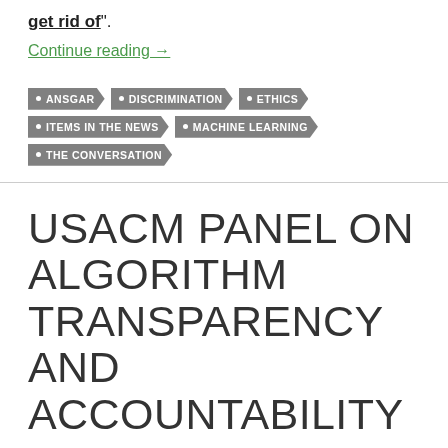get rid of".
Continue reading →
ANSGAR
DISCRIMINATION
ETHICS
ITEMS IN THE NEWS
MACHINE LEARNING
THE CONVERSATION
USACM PANEL ON ALGORITHM TRANSPARENCY AND ACCOUNTABILITY
LEAVE A COMMENT